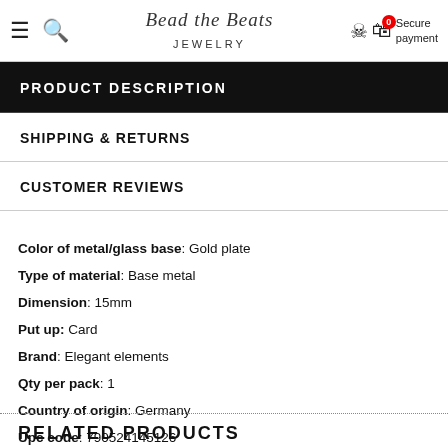≡ 🔍 Bead the Beats Jewelry — Secure payment
PRODUCT DESCRIPTION
SHIPPING & RETURNS
CUSTOMER REVIEWS
Color of metal/glass base: Gold plate
Type of material: Base metal
Dimension: 15mm
Put up: Card
Brand: Elegant elements
Qty per pack: 1
Country of origin: Germany
Upc code: 790524145126
RELATED PRODUCTS